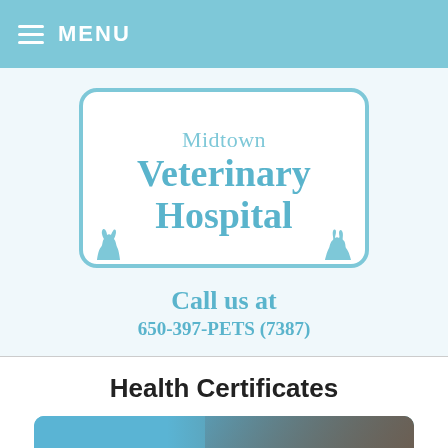MENU
[Figure (logo): Midtown Veterinary Hospital logo with cat and dog silhouettes in a rounded rectangle border]
Call us at
650-397-PETS (7387)
Health Certificates
[Figure (photo): Traveling with pets - image showing a dog in a car with blue rounded rectangle overlay and 'Traveling with' text overlay]